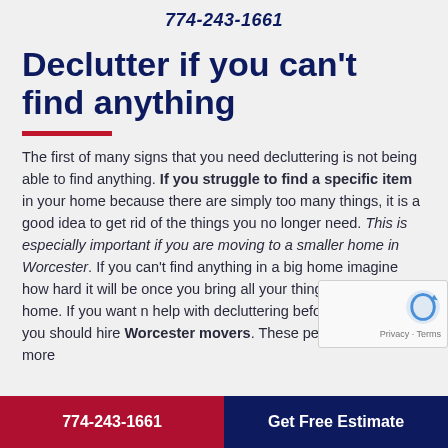774-243-1661
Declutter if you can't find anything
The first of many signs that you need decluttering is not being able to find anything. If you struggle to find a specific item in your home because there are simply too many things, it is a good idea to get rid of the things you no longer need. This is especially important if you are moving to a smaller home in Worcester. If you can't find anything in a big home imagine how hard it will be once you bring all your things to a smaller home. If you want n help with decluttering before you move you should hire Worcester movers. These people have much more
774-243-1661   Get Free Estimate